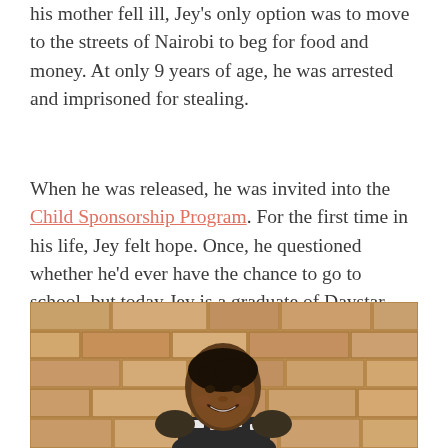his mother fell ill, Jey's only option was to move to the streets of Nairobi to beg for food and money. At only 9 years of age, he was arrested and imprisoned for stealing.
When he was released, he was invited into the Child Sponsorship Program. For the first time in his life, Jey felt hope. Once, he questioned whether he'd ever have the chance to go to school, but today Jey is a graduate of Daystar University, where he studied youth ministry.
[Figure (photo): A smiling woman with short hair standing in front of a stone brick wall, wearing a black and white patterned top.]